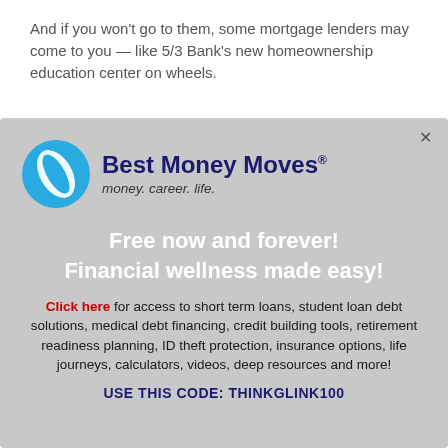And if you won't go to them, some mortgage lenders may come to you — like 5/3 Bank's new homeownership education center on wheels.
[Figure (infographic): Best Money Moves advertisement with logo (blue circle with white leaf), tagline 'money. career. life.', headline 'Free now and forever! Financial wellness made easy!', body text about financial services, call to action 'Click here', and promo code 'THINKGLINK100']